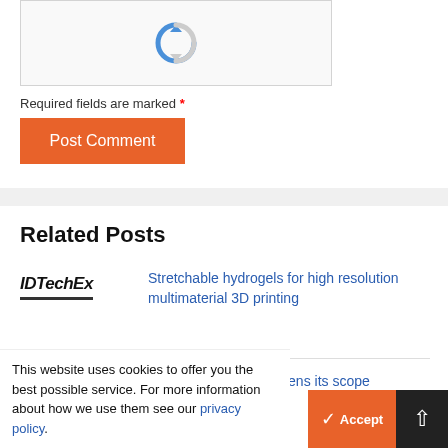[Figure (screenshot): reCAPTCHA widget box with the reCAPTCHA logo (circular arrow icon in blue and grey)]
Required fields are marked *
Post Comment
Related Posts
[Figure (logo): IDTechEx logo — bold italic text with underline]
Stretchable hydrogels for high resolution multimaterial 3D printing
Printed electronics widens its scope
This website uses cookies to offer you the best possible service. For more information about how we use them see our privacy policy.